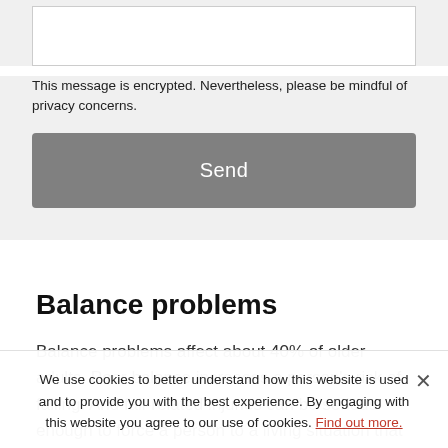[Figure (other): Text input textarea box with white background and border]
This message is encrypted. Nevertheless, please be mindful of privacy concerns.
Send
Balance problems
Balance problems affect about 40% of older adults. Poor balance increases a person's risk of falling. And fall-related injuries can be serious enough to force a person to a living situation that provides more supportive care. A person with good balance can stand, walk, sit, and
We use cookies to better understand how this website is used and to provide you with the best experience. By engaging with this website you agree to our use of cookies. Find out more.